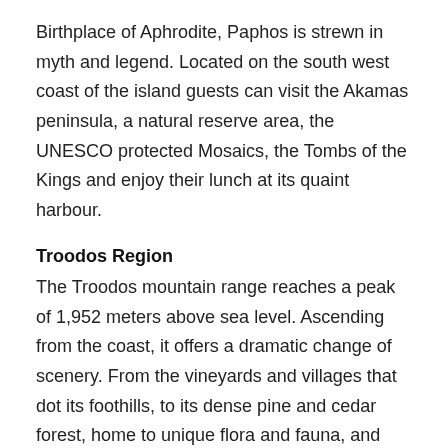Birthplace of Aphrodite, Paphos is strewn in myth and legend. Located on the south west coast of the island guests can visit the Akamas peninsula, a natural reserve area, the UNESCO protected Mosaics, the Tombs of the Kings and enjoy their lunch at its quaint harbour.
Troodos Region
The Troodos mountain range reaches a peak of 1,952 meters above sea level. Ascending from the coast, it offers a dramatic change of scenery. From the vineyards and villages that dot its foothills, to its dense pine and cedar forest, home to unique flora and fauna, and finally its snowy peaks. It is said that in March, one can easily ski in Troodos and within an hour water-ski in Limassol.
Ayia Napa
World famous for its crystal clear waters and golden